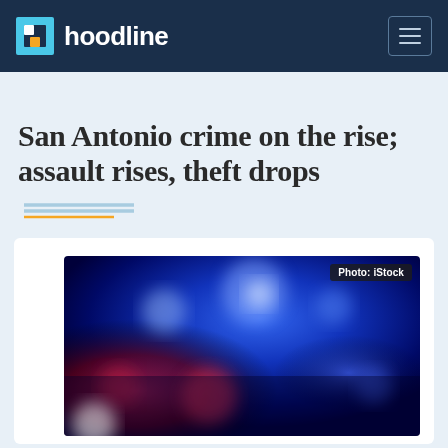hoodline
San Antonio crime on the rise; assault rises, theft drops
[Figure (photo): Blurred police car lights at night, blue and red emergency lights out of focus. Photo credit: iStock]